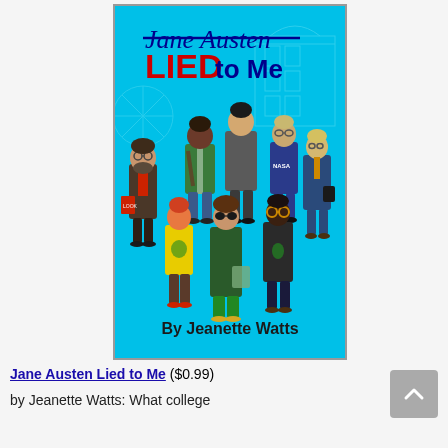[Figure (illustration): Book cover for 'Jane Austen Lied to Me' by Jeanette Watts. Bright cyan/blue background with cartoon-style illustrated characters — various men and women in different outfits. The title 'Jane Austen LIED to Me' appears at the top in mixed script and bold fonts, and 'By Jeanette Watts' at the bottom.]
Jane Austen Lied to Me ($0.99) by Jeanette Watts: What college